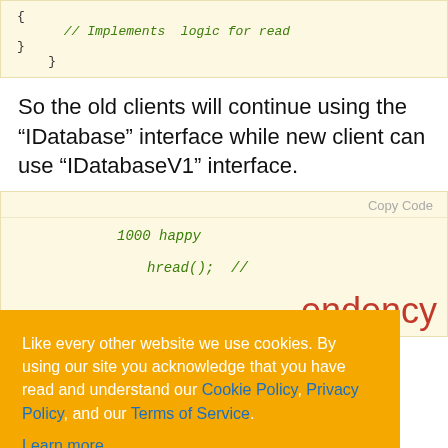[Figure (screenshot): Code block showing closing braces and a comment '// Implements logic for read' on a pale yellow background]
So the old clients will continue using the “IDatabase” interface while new client can use “IDatabaseV1” interface.
[Figure (screenshot): Code block with 'Copy Code' button and partial code showing '1000 happy' and 'hread(); //' in green italic text on pale yellow background]
Like every other website we use cookies. By using our site you acknowledge that you have read and understand our Cookie Policy, Privacy Policy, and our Terms of Service. Learn more
Ask me later   Decline   Allow cookies
endency (partial section heading visible)